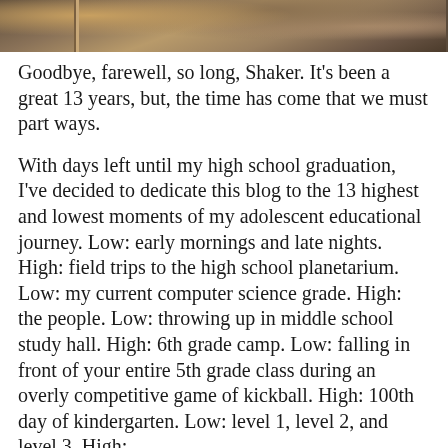[Figure (photo): Partial photo showing a wooden structure or fence against a cloudy sky, cropped at top of page]
Goodbye, farewell, so long, Shaker. It's been a great 13 years, but, the time has come that we must part ways.
With days left until my high school graduation, I've decided to dedicate this blog to the 13 highest and lowest moments of my adolescent educational journey. Low: early mornings and late nights. High: field trips to the high school planetarium. Low: my current computer science grade. High: the people. Low: throwing up in middle school study hall. High: 6th grade camp. Low: falling in front of your entire 5th grade class during an overly competitive game of kickball. High: 100th day of kindergarten. Low: level 1, level 2, and level 3. High: